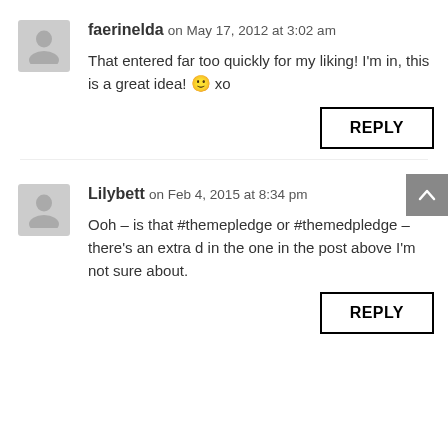faerinelda on May 17, 2012 at 3:02 am
That entered far too quickly for my liking! I'm in, this is a great idea! 🙂 xo
REPLY
Lilybett on Feb 4, 2015 at 8:34 pm
Ooh – is that #themepledge or #themedpledge – there's an extra d in the one in the post above I'm not sure about.
REPLY